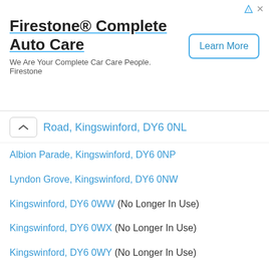[Figure (other): Firestone Complete Auto Care advertisement banner with Learn More button]
Road, Kingswinford, DY6 0NL
Albion Parade, Kingswinford, DY6 0NP
Lyndon Grove, Kingswinford, DY6 0NW
Kingswinford, DY6 0WW (No Longer In Use)
Kingswinford, DY6 0WX (No Longer In Use)
Kingswinford, DY6 0WY (No Longer In Use)
Kingswinford, DY6 0WZ (No Longer In Use)
Kingswinford, DY6 0YA (No Longer In Use)
Kingswinford, DY6 0YN (No Longer In Use)
Kingswinford, DY6 0YP (No Longer In Use)
Kingswinford, DY6 0YR (No Longer In Use)
Kingswinford, DY6 0YS (No Longer In Use)